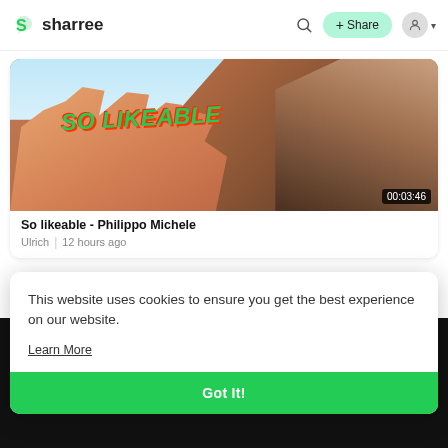sharree  🔍  + Share  👤
[Figure (screenshot): Video thumbnail showing 'SO LIKEABLE' text in green over an image of a hand and a person's face, with a duration badge showing 00:03:46]
So likeable - Philippo Michele
Ulrich | 12 hours ago
This website uses cookies to ensure you get the best experience on our website.
Learn More
Got It!